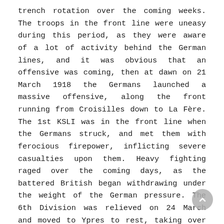trench rotation over the coming weeks. The troops in the front line were uneasy during this period, as they were aware of a lot of activity behind the German lines, and it was obvious that an offensive was coming, then at dawn on 21 March 1918 the Germans launched a massive offensive, along the front running from Croisilles down to La Fère. The 1st KSLI was in the front line when the Germans struck, and met them with ferocious firepower, inflicting severe casualties upon them. Heavy fighting raged over the coming days, as the battered British began withdrawing under the weight of the German pressure. The 6th Division was relieved on 24 March and moved to Ypres to rest, taking over positions at Frezenberg. On 9 April the Germans launched a second offensive, along the Lys, and the Division stood to, expecting to